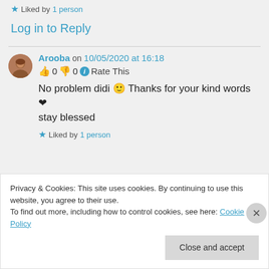★ Liked by 1 person
Log in to Reply
Arooba on 10/05/2020 at 16:18
👍 0 👎 0 ℹ Rate This
No problem didi 🙂 Thanks for your kind words ❤
stay blessed
★ Liked by 1 person
Privacy & Cookies: This site uses cookies. By continuing to use this website, you agree to their use.
To find out more, including how to control cookies, see here: Cookie Policy
Close and accept